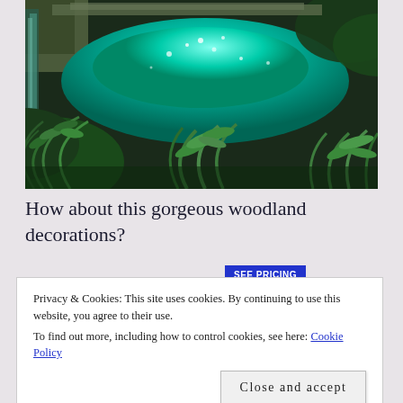[Figure (photo): Aerial view of a lush woodland garden with a turquoise/teal illuminated water feature or pool surrounded by dense green ferns and tropical foliage, with what appears to be a waterfall on the left side.]
How about this gorgeous woodland decorations?
Privacy & Cookies: This site uses cookies. By continuing to use this website, you agree to their use.
To find out more, including how to control cookies, see here: Cookie Policy
Close and accept